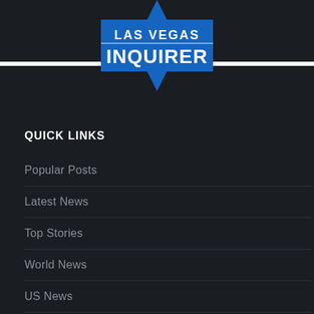[Figure (logo): Las Vegas Inquirer logo — blue star shape with white text reading LAS VEGAS INQUIRER on a dark background with a white horizontal band]
QUICK LINKS
Popular Posts
Latest News
Top Stories
World News
US News
Tech
Health